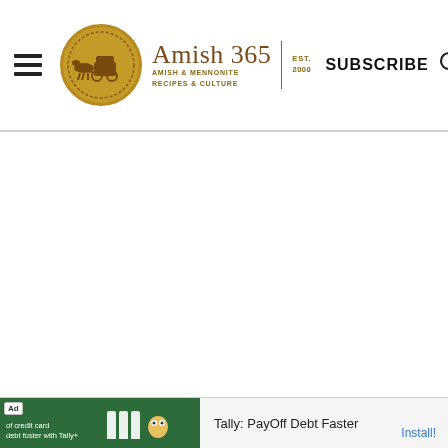[Figure (logo): Amish 365 website header with hamburger menu, circular gold logo with horse and buggy, site name 'Amish 365', tagline 'Amish & Mennonite Recipes & Culture', 'Est. 2000', Subscribe button, and search icon]
[Figure (screenshot): Blank white main content area of the Amish 365 website]
[Figure (screenshot): Ad banner: Tally: PayOff Debt Faster advertisement with green creative panel and Install! link]